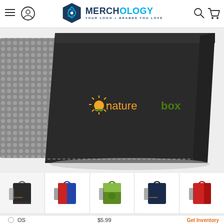Merchology - Your Logo + Brands You Love
[Figure (photo): Close-up of a black insulated lunch bag with mesh side pocket and NatureBox logo printed in orange and green on the front panel]
[Figure (photo): Row of 5 product thumbnail images showing the lunch bag in different color variants: black, blue/red, green, navy, and red]
| SIZE | PRICE | QTY |
| --- | --- | --- |
| OS | $5.99 | Get Inventory |